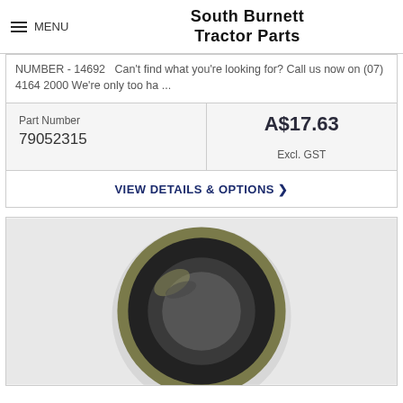South Burnett Tractor Parts
NUMBER - 14692   Can't find what you're looking for? Call us now on (07) 4164 2000 We're only too ha ...
| Part Number | Price |
| --- | --- |
| 79052315 | A$17.63
Excl. GST |
VIEW DETAILS & OPTIONS
[Figure (photo): A circular rubber/metal shaft seal (oil seal) with a dark black rubber lip and olive/green metal outer casing, photographed on a light grey background.]